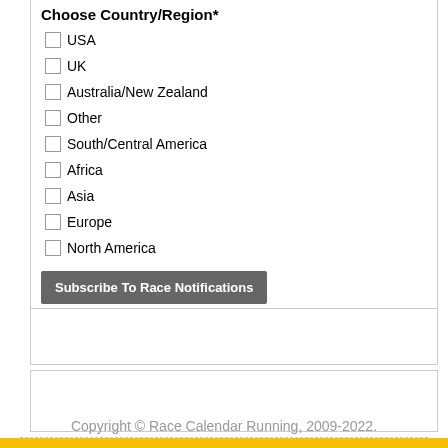Choose Country/Region*
USA
UK
Australia/New Zealand
Other
South/Central America
Africa
Asia
Europe
North America
Subscribe To Race Notifications
Copyright © Race Calendar Running, 2009-2022.